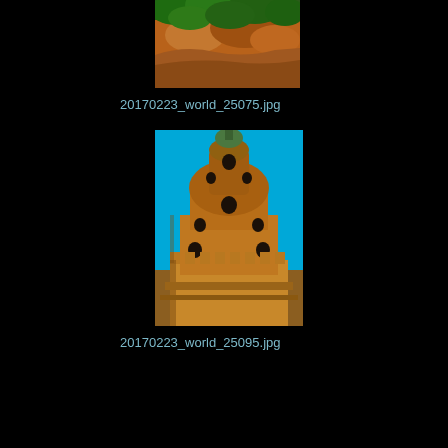[Figure (photo): Partial view of a rocky cliff or mountainside with green foliage/trees visible against the rock face, cropped at top.]
20170223_world_25075.jpg
[Figure (photo): An ancient mud-brick or adobe tower/minaret structure with circular windows and a domed top, set against a bright blue sky. The structure appears to be a desert fortress or religious building.]
20170223_world_25095.jpg